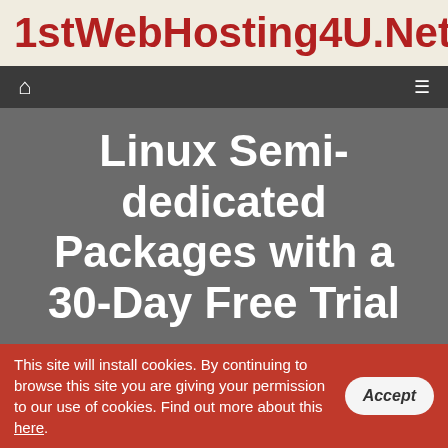1stWebHosting4U.Net
Linux Semi-dedicated Packages with a 30-Day Free Trial
The semi-dedicated plans that we are offering are considerably more powerful compared to the ordinary shared web hosting plans. They offer lavish database query and CPU quotas and have the resources for hosting unlimited
This site will install cookies. By continuing to browse this site you are giving your permission to our use of cookies. Find out more about this here.